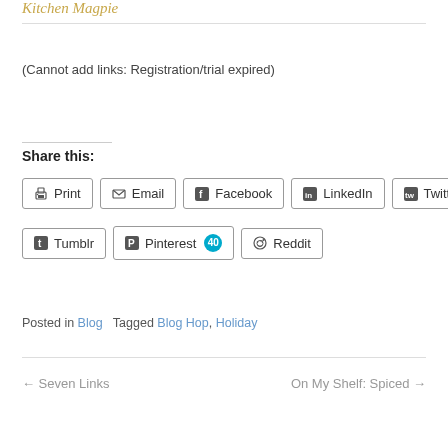Kitchen Magpie
(Cannot add links: Registration/trial expired)
Share this:
Print  Email  Facebook  LinkedIn  Twitter  Tumblr  Pinterest 40  Reddit
Posted in Blog   Tagged Blog Hop, Holiday
← Seven Links   On My Shelf: Spiced →